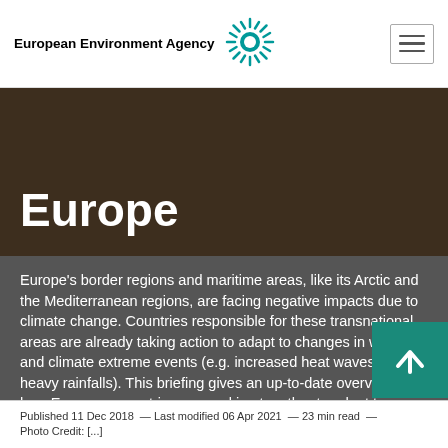European Environment Agency
Europe
Europe's border regions and maritime areas, like its Arctic and the Mediterranean regions, are facing negative impacts due to climate change. Countries responsible for these transnational areas are already taking action to adapt to changes in weather and climate extreme events (e.g. increased heat waves or heavy rainfalls). This briefing gives an up-to-date overview of how European countries are working together to adapt to climate change impacts in these shared regions, some of which are considered climate change 'hot spots' because they are most vulnerable to dramatic changes.
Published 11 Dec 2018 — Last modified 06 Apr 2021 — 23 min read — Photo Credit: [...]